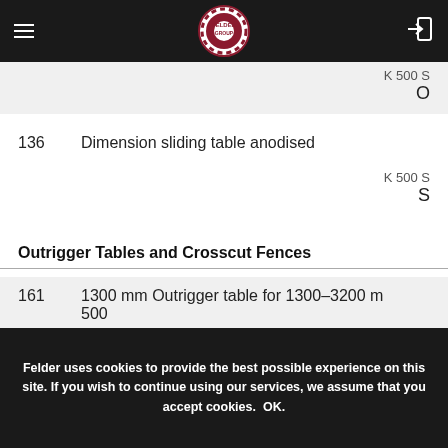Felder Group navigation bar with logo
| No. | Description | Model |
| --- | --- | --- |
|  | K 500 S | O |
| 136 | Dimension sliding table anodised | K 500 S
S |
| 161 | 1300 mm Outrigger table for 1300–3200 mm ... 500 | K 500 S |
Outrigger Tables and Crosscut Fences
Felder uses cookies to provide the best possible experience on this site. If you wish to continue using our services, we assume that you accept cookies. OK.